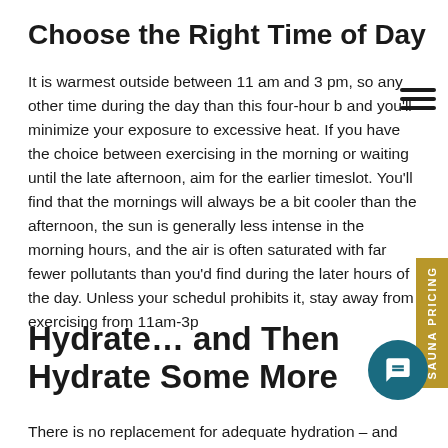Choose the Right Time of Day
It is warmest outside between 11 am and 3 pm, so any other time during the day than this four-hour block and you'll minimize your exposure to excessive heat. If you have the choice between exercising in the morning or waiting until the late afternoon, aim for the earlier timeslot. You'll find that the mornings will always be a bit cooler than the afternoon, the sun is generally less intense in the morning hours, and the air is often saturated with far fewer pollutants than you'd find during the later hours of the day. Unless your schedule prohibits it, stay away from exercising from 11am-3pm.
Hydrate… and Then Hydrate Some More
There is no replacement for adequate hydration – and